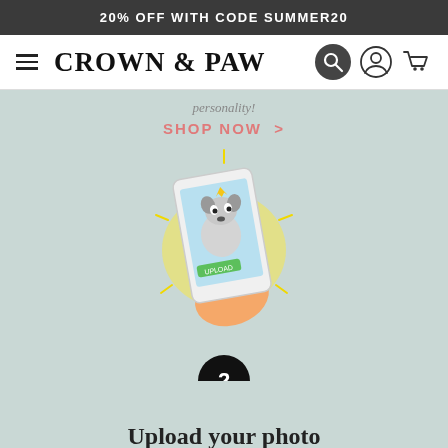20% OFF WITH CODE SUMMER20
[Figure (logo): Crown & Paw brand logo with hamburger menu icon on left and search, account, cart icons on right]
personality!
SHOP NOW >
[Figure (illustration): Hand holding a smartphone showing a cartoon French bulldog with a crown, with an UPLOAD button on the phone screen. Glow/sparkle effects around the phone.]
2
Upload your photo
Share your favourite...